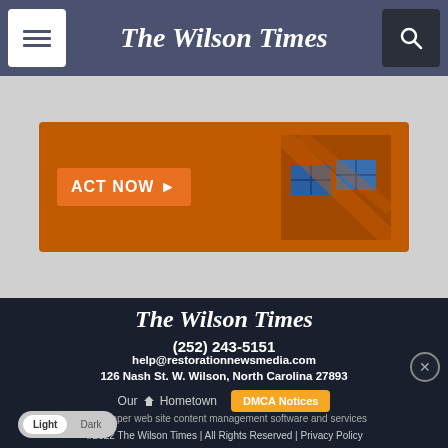The Wilson Times
[Figure (other): Advertisement banner with orange background, ACT NOW button with arrow, and solar panel graphic]
The Wilson Times
(252) 243-5151
help@restorationnewsmedia.com
126 Nash St. W. Wilson, North Carolina 27893
Our Hometown   DMCA Notices
Newspaper web site content management software and services
©2022 The Wilson Times | All Rights Reserved | Privacy Policy